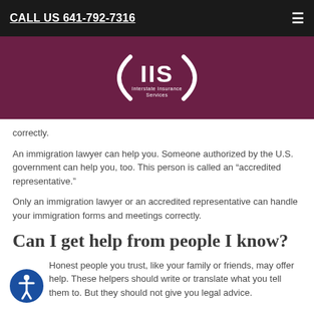CALL US 641-792-7316
[Figure (logo): IIS Interstate Insurance Services logo — white text and swoosh design on dark maroon/purple background]
correctly.
An immigration lawyer can help you. Someone authorized by the U.S. government can help you, too. This person is called an “accredited representative.”
Only an immigration lawyer or an accredited representative can handle your immigration forms and meetings correctly.
Can I get help from people I know?
Honest people you trust, like your family or friends, may offer help. These helpers should write or translate what you tell them to. But they should not give you legal advice.